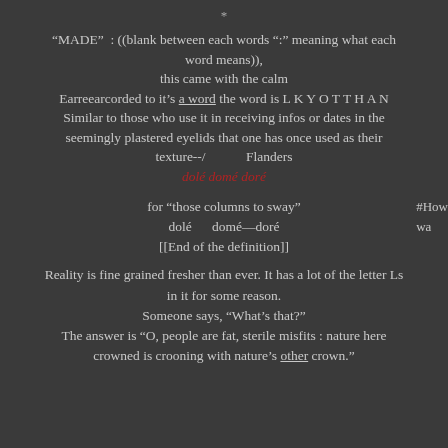*
“MADE”  : ((blank between each words “:” meaning what each word means)),
this came with the calm
Earreearcorded to it’s a word the word is L K Y O T T H A N
Similar to those who use it in receiving infos or dates in the seemingly plastered eyelids that one has once used as their texture--/                    Flanders
dolé domé doré
for “those columns to sway"
dolé       domé—doré
[[End of the definition]]
#How
wa
Reality is fine grained fresher than ever. It has a lot of the letter Ls in it for some reason.
Someone says, “What’s that?”
The answer is “O, people are fat, sterile misfits : nature here crowned is crooning with nature’s other crown.”